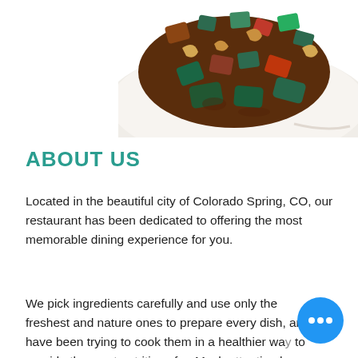[Figure (photo): Photo of a stir-fry dish with vegetables, cashews, meat pieces on a white plate, viewed from above, partially cropped]
ABOUT US
Located in the beautiful city of Colorado Spring, CO, our restaurant has been dedicated to offering the most memorable dining experience for you.
We pick ingredients carefully and use only the freshest and nature ones to prepare every dish, and have been trying to cook them in a healthier way to provide the most nutritious fo... Much attention has been attached... ensure you a cozy and inviting